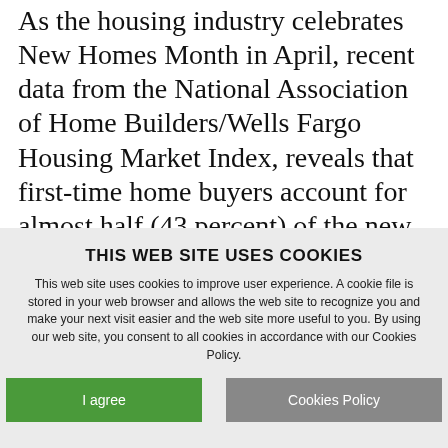As the housing industry celebrates New Homes Month in April, recent data from the National Association of Home Builders/Wells Fargo Housing Market Index, reveals that first-time home buyers account for almost half (43 percent) of the new home market in 2021, up from 32 percent in 2018.
THIS WEB SITE USES COOKIES
This web site uses cookies to improve user experience. A cookie file is stored in your web browser and allows the web site to recognize you and make your next visit easier and the web site more useful to you. By using our web site, you consent to all cookies in accordance with our Cookies Policy.